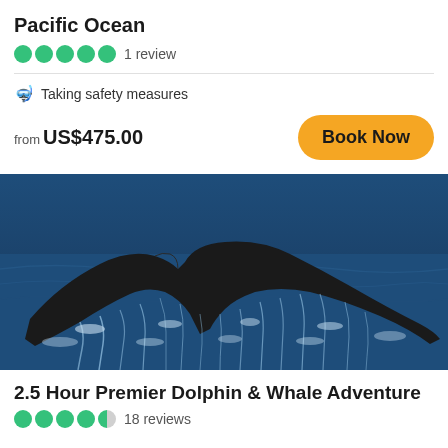Pacific Ocean
●●●●● 1 review
🤿 Taking safety measures
from US$475.00
Book Now
[Figure (photo): Humpback whale tail fluke rising out of the ocean with water cascading off it, blue ocean background]
2.5 Hour Premier Dolphin & Whale Adventure
●●●●◐ 18 reviews